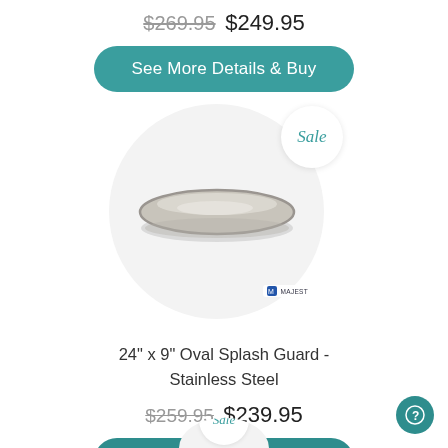$269.95 $249.95
See More Details & Buy
[Figure (photo): Oval stainless steel splash guard product in a circular image frame with a 'Sale' badge overlay. Shows an elongated oval-shaped silver/grey splash guard. A small logo in bottom right reads 'MAJEST'.]
24" x 9" Oval Splash Guard - Stainless Steel
$259.95 $239.95
See More Details & Buy